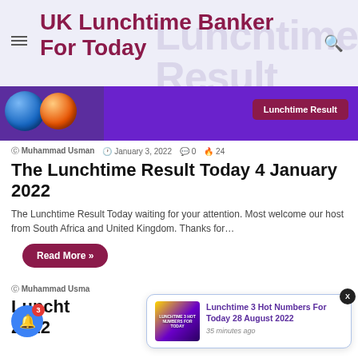UK Lunchtime Banker For Today
[Figure (screenshot): Hero banner with volleyball and basketball balls on purple background with Lunchtime Result badge]
Muhammad Usman  January 3, 2022  0  24
The Lunchtime Result Today 4 January 2022
The Lunchtime Result Today waiting for your attention. Most welcome our host from South Africa and United Kingdom. Thanks for…
Read More »
Muhammad Usman
Luncht... 2022
[Figure (screenshot): Notification popup: Lunchtime 3 Hot Numbers For Today 28 August 2022 - 35 minutes ago, with thumbnail image and close button]